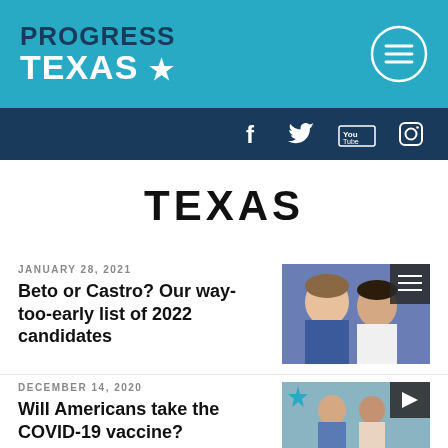PROGRESS TEXAS ★
[Figure (screenshot): Progress Texas logo with hamburger menu icon and social media bar (Facebook, Twitter, YouTube, Instagram)]
TEXAS
JANUARY 28, 2021
Beto or Castro? Our way-too-early list of 2022 candidates
DECEMBER 14, 2020
Will Americans take the COVID-19 vaccine?